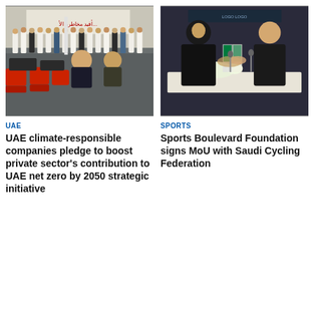[Figure (photo): Group of people in a conference/debate room with UAE attendees in traditional dress, standing in front of a banner with Arabic text, and seated audience in red chairs.]
[Figure (photo): Two women shaking hands across a table decorated with Saudi and other flags and flowers, at a formal signing ceremony.]
UAE
UAE climate-responsible companies pledge to boost private sector's contribution to UAE net zero by 2050 strategic initiative
SPORTS
Sports Boulevard Foundation signs MoU with Saudi Cycling Federation